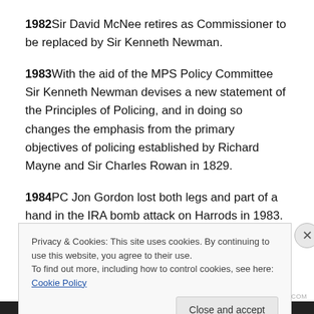1982 Sir David McNee retires as Commissioner to be replaced by Sir Kenneth Newman.
1983 With the aid of the MPS Policy Committee Sir Kenneth Newman devises a new statement of the Principles of Policing, and in doing so changes the emphasis from the primary objectives of policing established by Richard Mayne and Sir Charles Rowan in 1829.
1984 PC Jon Gordon lost both legs and part of a hand in the IRA bomb attack on Harrods in 1983. On 10 December
Privacy & Cookies: This site uses cookies. By continuing to use this website, you agree to their use. To find out more, including how to control cookies, see here: Cookie Policy
Close and accept